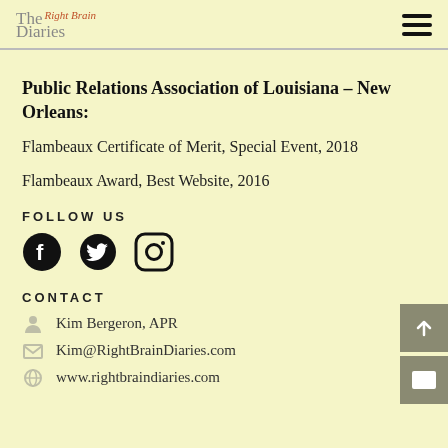The Right Brain Diaries
Public Relations Association of Louisiana – New Orleans:
Flambeaux Certificate of Merit, Special Event, 2018
Flambeaux Award, Best Website, 2016
FOLLOW US
[Figure (illustration): Social media icons: Facebook, Twitter, Instagram]
CONTACT
Kim Bergeron, APR
Kim@RightBrainDiaries.com
www.rightbraindiaries.com